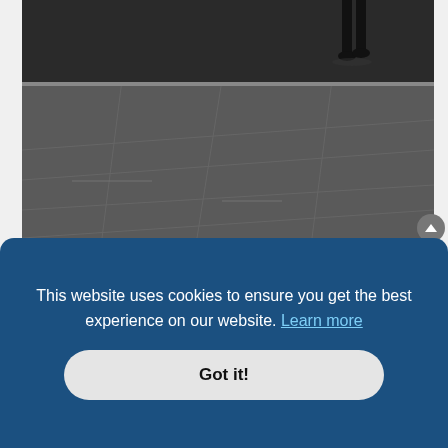[Figure (photo): Black and white street photograph showing legs/boots of a person walking on a concrete plaza or pavement, with diagonal lines and shadows. Shot from ground level.]
blocho
Donator
#230  June 27th, 2022, 4:52 pm
Diamond Beach, Iceland, August 2021
[Figure (photo): Partial view of a beach/ocean photograph visible behind cookie consent banner, showing light blue sky and water.]
This website uses cookies to ensure you get the best experience on our website. Learn more
Got it!